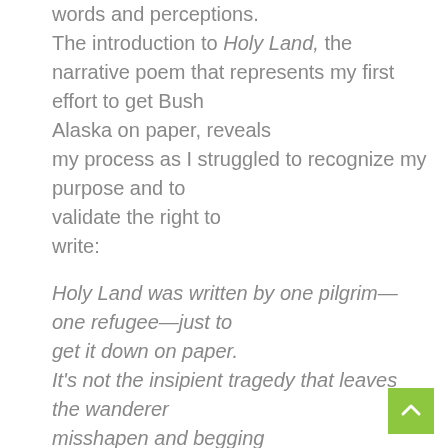words and perceptions. The introduction to Holy Land, the narrative poem that represents my first effort to get Bush Alaska on paper, reveals my process as I struggled to recognize my purpose and to validate the right to write:
Holy Land was written by one pilgrim—one refugee—just to get it down on paper. It's not the insipient tragedy that leaves the wanderer misshapen and begging for release. It's the burden of the untold story. These are the tentacles that begin to wrap about the gut and squeeze in dark hours. I don't claim to understand this holy land or these fine people, but I do have a stake in the